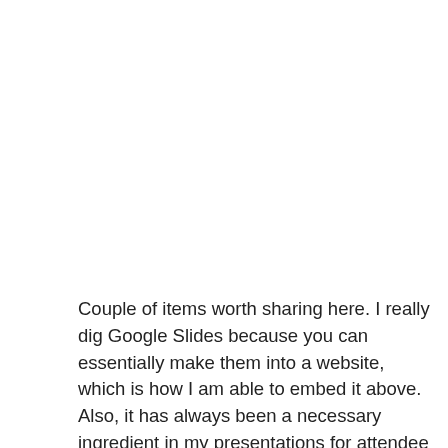Couple of items worth sharing here. I really dig Google Slides because you can essentially make them into a website, which is how I am able to embed it above. Also, it has always been a necessary ingredient in my presentations for attendee engagement. Inside that slide deck are links to additional content so they have an active voice in their learning and can interact with the material. For example, head down to slide 15, advance through the guiding questions, and click on the padlet link (or go to…